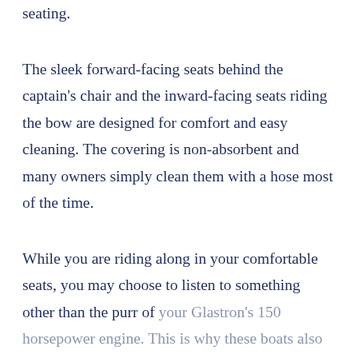seating.
The sleek forward-facing seats behind the captain's chair and the inward-facing seats riding the bow are designed for comfort and easy cleaning. The covering is non-absorbent and many owners simply clean them with a hose most of the time.
While you are riding along in your comfortable seats, you may choose to listen to something other than the purr of your Glastron's 150 horsepower engine. This is why these boats also come…